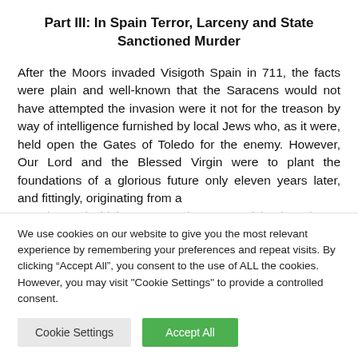Part III: In Spain Terror, Larceny and State Sanctioned Murder
After the Moors invaded Visigoth Spain in 711, the facts were plain and well-known that the Saracens would not have attempted the invasion were it not for the treason by way of intelligence furnished by local Jews who, as it were, held open the Gates of Toledo for the enemy. However, Our Lord and the Blessed Virgin were to plant the foundations of a glorious future only eleven years later, and fittingly, originating from a cave beyond which Saracen advance on Visigoth territory...
We use cookies on our website to give you the most relevant experience by remembering your preferences and repeat visits. By clicking “Accept All”, you consent to the use of ALL the cookies. However, you may visit "Cookie Settings" to provide a controlled consent.